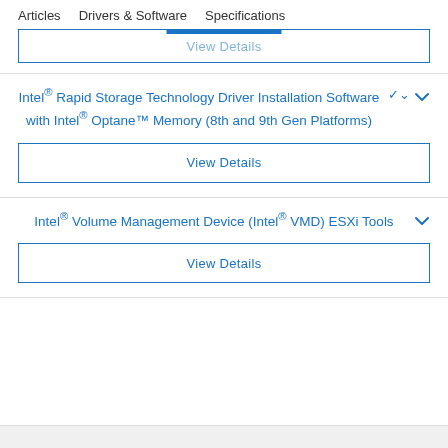Articles   Drivers & Software   Specifications
View Details
Intel® Rapid Storage Technology Driver Installation Software with Intel® Optane™ Memory (8th and 9th Gen Platforms)
View Details
Intel® Volume Management Device (Intel® VMD) ESXi Tools
View Details